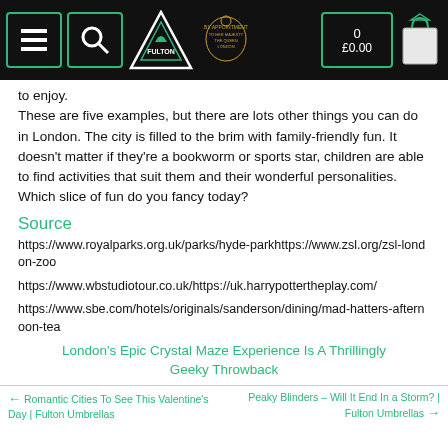Fulton Umbrellas header with navigation icons, logo, royal crest, cart (0 / £0.00), and bag icon
to enjoy.
These are five examples, but there are lots other things you can do in London. The city is filled to the brim with family-friendly fun. It doesn't matter if they're a bookworm or sports star, children are able to find activities that suit them and their wonderful personalities. Which slice of fun do you fancy today?
Source
https://www.royalparks.org.uk/parks/hyde-parkhttps://www.zsl.org/zsl-london-zoo
https://www.wbstudiotour.co.uk/https://uk.harrypottertheplay.com/
https://www.sbe.com/hotels/originals/sanderson/dining/mad-hatters-afternoon-tea
London's Epic Crystal Maze Experience Is A Thrillingly Geeky Throwback
← Romantic Cities To See This Valentine's Day | Fulton Umbrellas    Peaky Blinders – Will It End In a Storm? | Fulton Umbrellas →